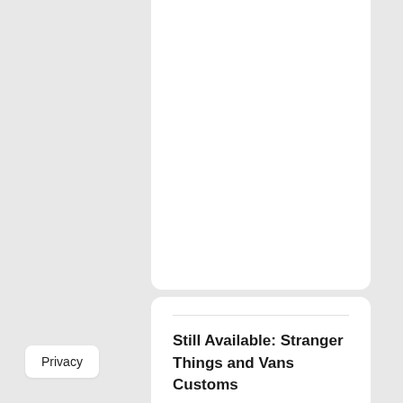Still Available: Stranger Things and Vans Customs
Vans   7/22/2022
Privacy